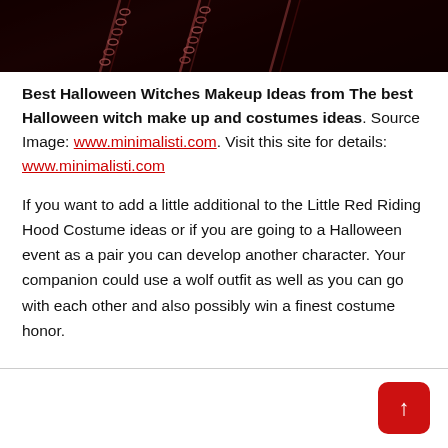[Figure (photo): Dark Halloween photo showing chains/necklaces against a dark red/black background, cropped at top of page]
Best Halloween Witches Makeup Ideas from The best Halloween witch make up and costumes ideas. Source Image: www.minimalisti.com. Visit this site for details: www.minimalisti.com
If you want to add a little additional to the Little Red Riding Hood Costume ideas or if you are going to a Halloween event as a pair you can develop another character. Your companion could use a wolf outfit as well as you can go with each other and also possibly win a finest costume honor.